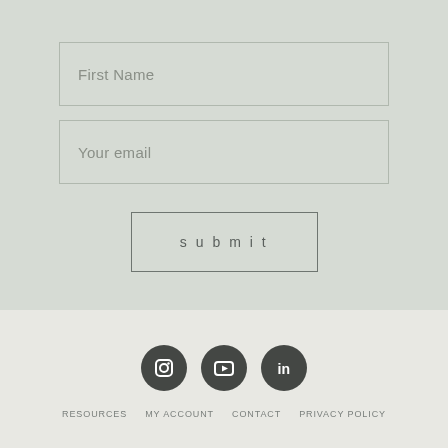First Name
Your email
submit
[Figure (infographic): Social media icons: Instagram, YouTube, LinkedIn in dark circles]
RESOURCES  MY ACCOUNT  CONTACT  PRIVACY POLICY